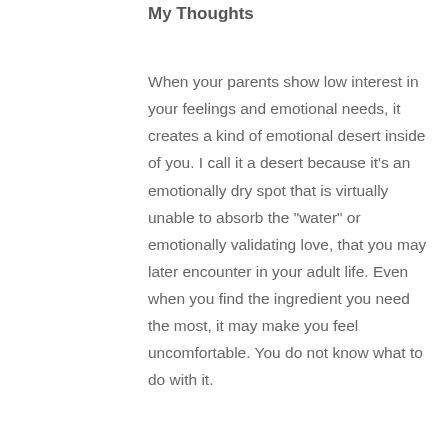My Thoughts
When your parents show low interest in your feelings and emotional needs, it creates a kind of emotional desert inside of you. I call it a desert because it’s an emotionally dry spot that is virtually unable to absorb the “water” or emotionally validating love, that you may later encounter in your adult life. Even when you find the ingredient you need the most, it may make you feel uncomfortable. You do not know what to do with it.